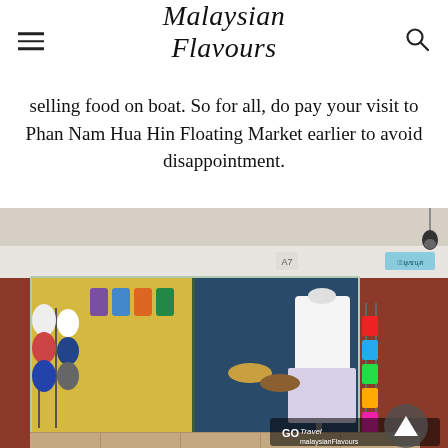Malaysian Flavours
selling food on boat. So for all, do pay your visit to Phan Nam Hua Hin Floating Market earlier to avoid disappointment.
[Figure (photo): A souvenir and clothing shop at Phan Nam Hua Hin Floating Market showing colourful t-shirts, bags, and merchandise displayed on racks and mannequins outside shop fronts with red wooden walls. A 'GO Travel Malaysian Flavours' watermark appears in the bottom right corner.]